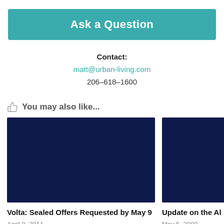Ask a Question
Contact:
matt@urban-living.com
206-618-1600
You may also like...
[Figure (photo): Dark navy blue placeholder image for article thumbnail]
Volta: Sealed Offers Requested by May 9
April 8, 2011
[Figure (photo): Dark navy blue placeholder image for article thumbnail (partially visible)]
Update on the Al...
May 5, 2009